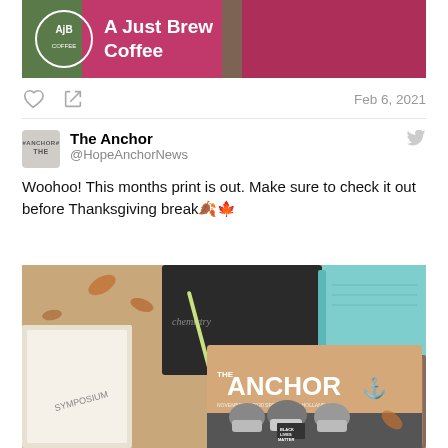[Figure (photo): Top banner image showing AjB logo circle and 'A Just Brew Coffee' text over a pink/magenta background with a person in a pink lace top]
Feb 6, 2021
[Figure (photo): Twitter post by The Anchor (@HopeAnchorNews): 'Woohoo! This months print is out. Make sure to check it out before Thanksgiving break' with image of The Anchor newspaper print issue showing cover with masked people and Black Lives Matter text, surrounded by notebooks and books on autumn leaves]
The Anchor
@HopeAnchorNews
Woohoo! This months print is out. Make sure to check it out before Thanksgiving break🍂🍁